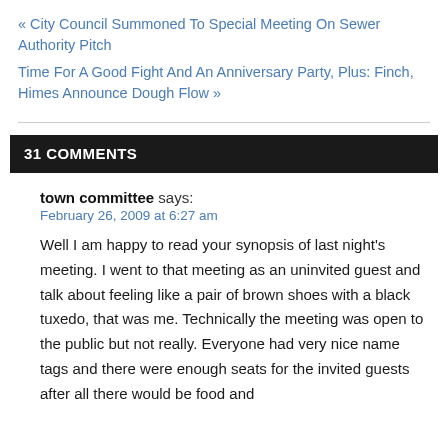« City Council Summoned To Special Meeting On Sewer Authority Pitch
Time For A Good Fight And An Anniversary Party, Plus: Finch, Himes Announce Dough Flow »
31 COMMENTS
town committee says:
February 26, 2009 at 6:27 am
Well I am happy to read your synopsis of last night's meeting. I went to that meeting as an uninvited guest and talk about feeling like a pair of brown shoes with a black tuxedo, that was me. Technically the meeting was open to the public but not really. Everyone had very nice name tags and there were enough seats for the invited guests after all there would be food and